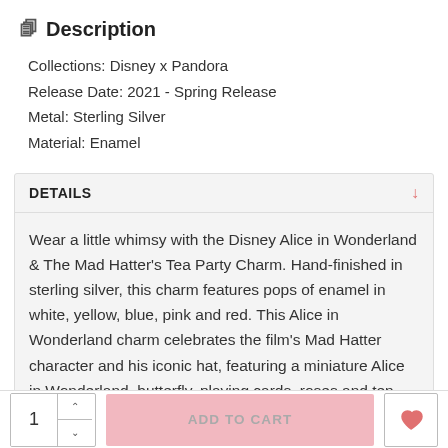Description
Collections: Disney x Pandora
Release Date: 2021 - Spring Release
Metal: Sterling Silver
Material: Enamel
DETAILS
Wear a little whimsy with the Disney Alice in Wonderland & The Mad Hatter's Tea Party Charm. Hand-finished in sterling silver, this charm features pops of enamel in white, yellow, blue, pink and red. This Alice in Wonderland charm celebrates the film's Mad Hatter character and his iconic hat, featuring a miniature Alice in Wonderland, butterfly, playing cards, roses and ten shillings and sixpence price tag. The playful engraving –